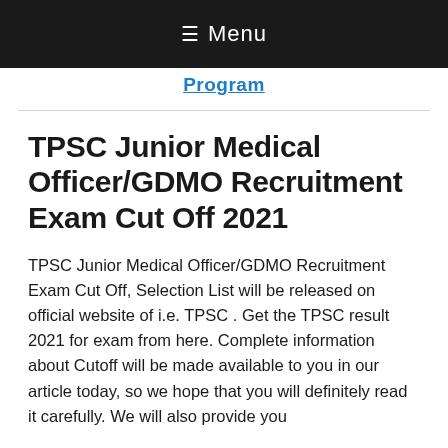≡ Menu
Program
TPSC Junior Medical Officer/GDMO Recruitment Exam Cut Off 2021
TPSC Junior Medical Officer/GDMO Recruitment Exam Cut Off, Selection List will be released on official website of i.e. TPSC . Get the TPSC result 2021 for exam from here. Complete information about Cutoff will be made available to you in our article today, so we hope that you will definitely read it carefully. We will also provide you